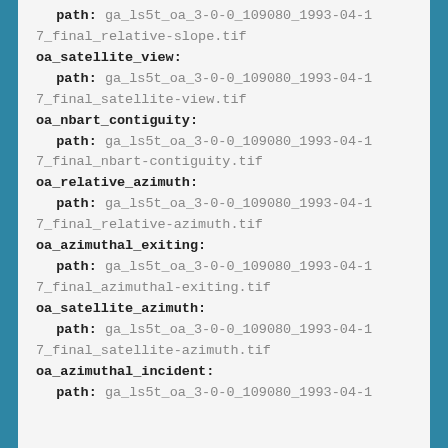path: ga_ls5t_oa_3-0-0_109080_1993-04-17_final_relative-slope.tif
oa_satellite_view:
path: ga_ls5t_oa_3-0-0_109080_1993-04-17_final_satellite-view.tif
oa_nbart_contiguity:
path: ga_ls5t_oa_3-0-0_109080_1993-04-17_final_nbart-contiguity.tif
oa_relative_azimuth:
path: ga_ls5t_oa_3-0-0_109080_1993-04-17_final_relative-azimuth.tif
oa_azimuthal_exiting:
path: ga_ls5t_oa_3-0-0_109080_1993-04-17_final_azimuthal-exiting.tif
oa_satellite_azimuth:
path: ga_ls5t_oa_3-0-0_109080_1993-04-17_final_satellite-azimuth.tif
oa_azimuthal_incident:
path: ga_ls5t_oa_3-0-0_109080_1993-04-1